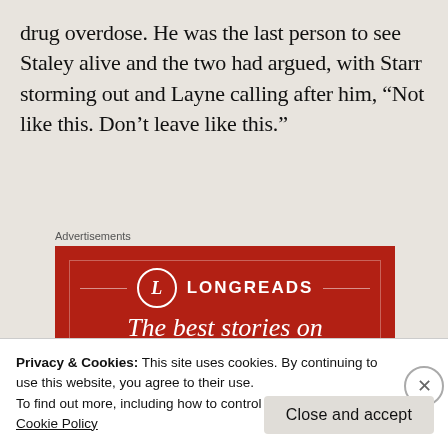drug overdose. He was the last person to see Staley alive and the two had argued, with Starr storming out and Layne calling after him, “Not like this. Don’t leave like this.”
[Figure (illustration): Longreads advertisement banner with red background, Longreads logo in a circle, and tagline 'The best stories on the web – ours, and everyone else’s' partially visible]
Privacy & Cookies: This site uses cookies. By continuing to use this website, you agree to their use.
To find out more, including how to control cookies, see here: Cookie Policy
Close and accept